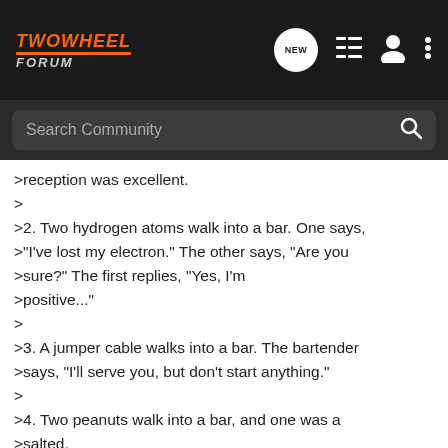TWOWHEEL FORUM
>reception was excellent.
>
>2. Two hydrogen atoms walk into a bar. One says, >"I've lost my electron." The other says, "Are you >sure?" The first replies, "Yes, I'm >positive..."
>
>3. A jumper cable walks into a bar. The bartender >says, "I'll serve you, but don't start anything."
>
>4. Two peanuts walk into a bar, and one was a >salted.
>
>5. A sandwich walks into a bar. The bartender >says, "Sorry we don't serve food in here."